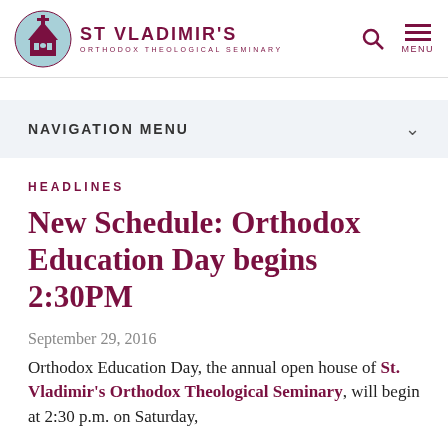ST VLADIMIR'S ORTHODOX THEOLOGICAL SEMINARY
NAVIGATION MENU
HEADLINES
New Schedule: Orthodox Education Day begins 2:30PM
September 29, 2016
Orthodox Education Day, the annual open house of St. Vladimir's Orthodox Theological Seminary, will begin at 2:30 p.m. on Saturday,